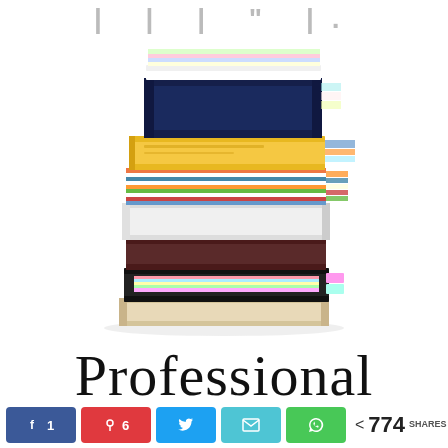| | |  "  |.
[Figure (illustration): A tall stack of books and binders piled on top of each other, photographed on white background. Books range from navy blue, dark brown, black, white, cream/beige, with various colorful paperback books visible between the larger hardcovers.]
Professional
< 774 SHARES
f 1  Pinterest 6  Twitter  Email  WhatsApp